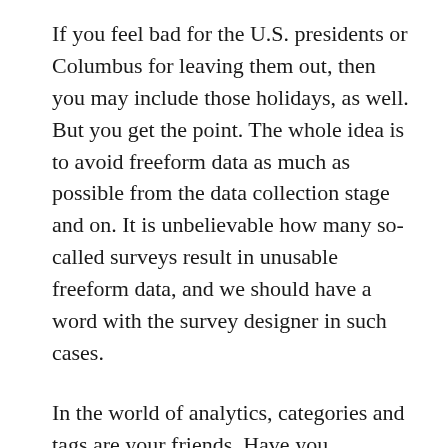If you feel bad for the U.S. presidents or Columbus for leaving them out, then you may include those holidays, as well. But you get the point. The whole idea is to avoid freeform data as much as possible from the data collection stage and on. It is unbelievable how many so-called surveys result in unusable freeform data, and we should have a word with the survey designer in such cases.
In the world of analytics, categories and tags are your friends. Have you wondered how music services like iTunes or Pandora auto-magically (I apologize for using this cliché) pick related songs like a personal DJ for you? I am certain they all rely on wonderful algorithms that